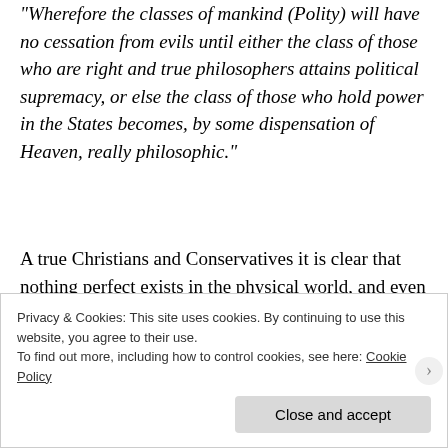"Wherefore the classes of mankind (Polity) will have no cessation from evils until either the class of those who are right and true philosophers attains political supremacy, or else the class of those who hold power in the States becomes, by some dispensation of Heaven, really philosophic."
A true Christians and Conservatives it is clear that nothing perfect exists in the physical world, and even if it should, it will eventually collapse under its own weight. Mankind is left with a constant preparation for a New Eden while upholding the past including the dead who sacrificed to make the
Privacy & Cookies: This site uses cookies. By continuing to use this website, you agree to their use.
To find out more, including how to control cookies, see here: Cookie Policy